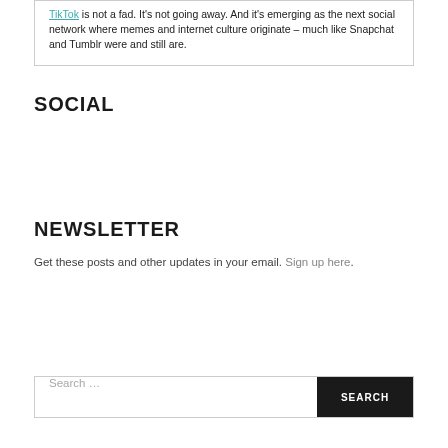TikTok is not a fad. It's not going away. And it's emerging as the next social network where memes and internet culture originate – much like Snapchat and Tumblr were and still are.
SOCIAL
NEWSLETTER
Get these posts and other updates in your email. Sign up here.
Search …